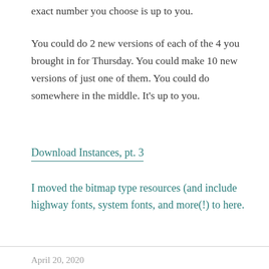exact number you choose is up to you.
You could do 2 new versions of each of the 4 you brought in for Thursday. You could make 10 new versions of just one of them. You could do somewhere in the middle. It’s up to you.
Download Instances, pt. 3
I moved the bitmap type resources (and include highway fonts, system fonts, and more(!) to here.
April 20, 2020